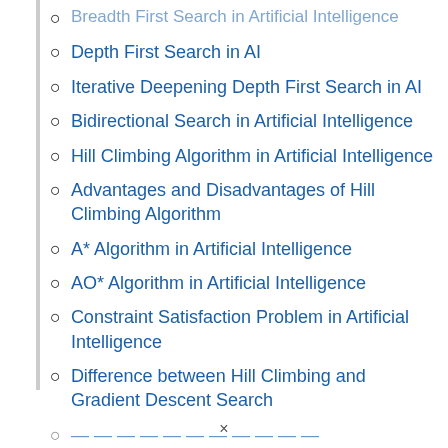Breadth First Search in Artificial Intelligence
Depth First Search in AI
Iterative Deepening Depth First Search in AI
Bidirectional Search in Artificial Intelligence
Hill Climbing Algorithm in Artificial Intelligence
Advantages and Disadvantages of Hill Climbing Algorithm
A* Algorithm in Artificial Intelligence
AO* Algorithm in Artificial Intelligence
Constraint Satisfaction Problem in Artificial Intelligence
Difference between Hill Climbing and Gradient Descent Search
[partially visible item]